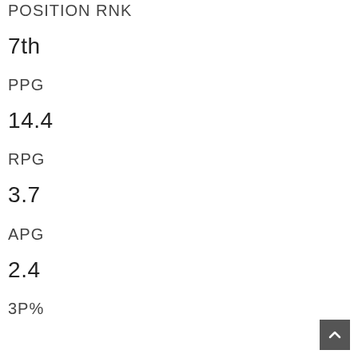POSITION RNK
7th
PPG
14.4
RPG
3.7
APG
2.4
3P%